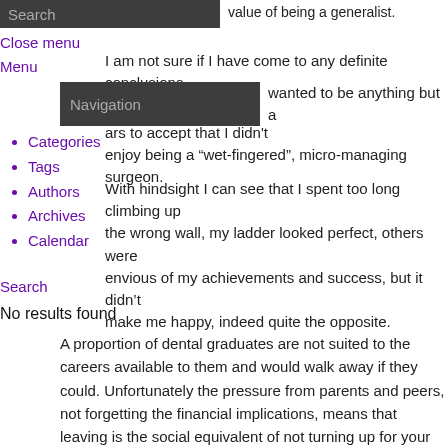value of being a generalist.
Search
Close menu
Menu   I am not sure if I have come to any definite conclusions.
Navigation
wanted to be anything but a
ars to accept that I didn’t enjoy being a “wet-fingered”, micro-managing surgeon.
Categories
Tags
Authors
Archives
Calendar
With hindsight I can see that I spent too long climbing up the wrong wall, my ladder looked perfect, others were envious of my achievements and success, but it didn’t make me happy, indeed quite the opposite.
Search
No results found
A proportion of dental graduates are not suited to the careers available to them and would walk away if they could. Unfortunately the pressure from parents and peers, not forgetting the financial implications, means that leaving is the social equivalent of not turning up for your own wedding. For many who persist this means that further down the road comes a moment where they wake